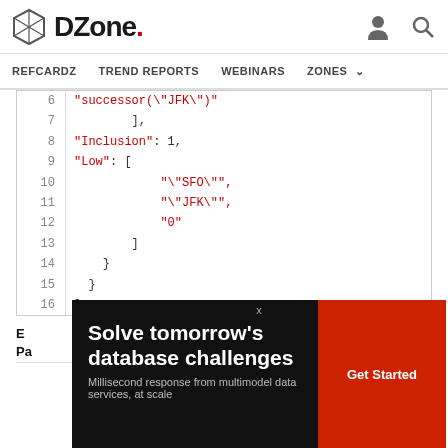DZone. REFCARDZ TREND REPORTS WEBINARS ZONES
[Figure (screenshot): Code snippet showing JSON-like structure with line numbers 6-16. Lines show: 6: "successor(\"JFK\")", 7: ],, 8: "Inclusion": 1,, 9: "Low": [, 10: "\"SFO\"",, 11: "\"JFK\"",, 12: "0", 13: ], 14: }, 15: }, 16: ]]
[Figure (other): Advertisement banner: 'Solve tomorrow's database challenges - Millisecond response from multimodel data services, at scale' with red Get Started button]